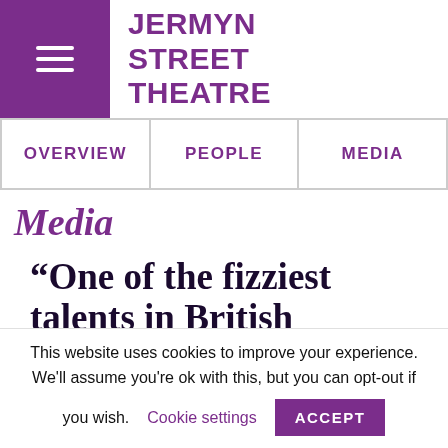JERMYN STREET THEATRE
| OVERVIEW | PEOPLE | MEDIA |
| --- | --- | --- |
Media
“One of the fizziest talents in British
This website uses cookies to improve your experience. We’ll assume you’re ok with this, but you can opt-out if you wish. Cookie settings ACCEPT